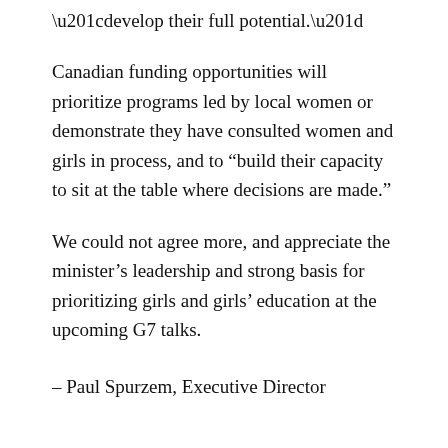“develop their full potential.”
Canadian funding opportunities will prioritize programs led by local women or demonstrate they have consulted women and girls in process, and to “build their capacity to sit at the table where decisions are made.”
We could not agree more, and appreciate the minister’s leadership and strong basis for prioritizing girls and girls’ education at the upcoming G7 talks.
– Paul Spurzem, Executive Director